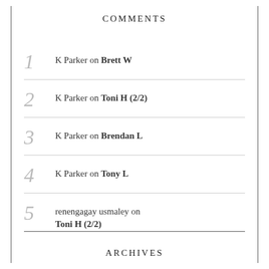COMMENTS
K Parker on Brett W
K Parker on Toni H (2/2)
K Parker on Brendan L
K Parker on Tony L
renengagay usmaley on Toni H (2/2)
ARCHIVES